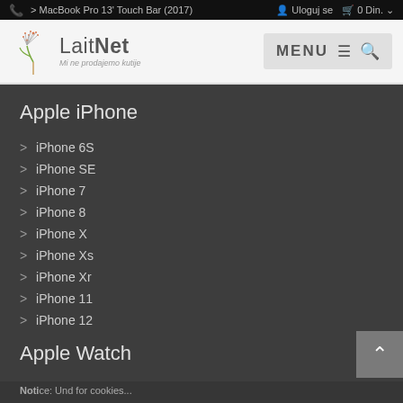MacBook Pro 13' Touch Bar (2017) | Uloguj se | 0 Din.
[Figure (logo): LaitNet logo with stylized dandelion and text 'Mi ne prodajemo kutije']
Apple iPhone
> iPhone 6S
> iPhone SE
> iPhone 7
> iPhone 8
> iPhone X
> iPhone Xs
> iPhone Xr
> iPhone 11
> iPhone 12
Apple Watch